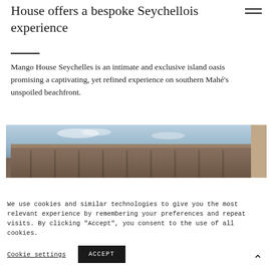House offers a bespoke Seychellois experience
Mango House Seychelles is an intimate and exclusive island oasis promising a captivating, yet refined experience on southern Mahé's unspoiled beachfront.
[Figure (photo): Exterior photo of Mango House Seychelles showing a colonial-style building courtyard with a terracotta roof, stone columns, and open sky above.]
We use cookies and similar technologies to give you the most relevant experience by remembering your preferences and repeat visits. By clicking "Accept", you consent to the use of all cookies.